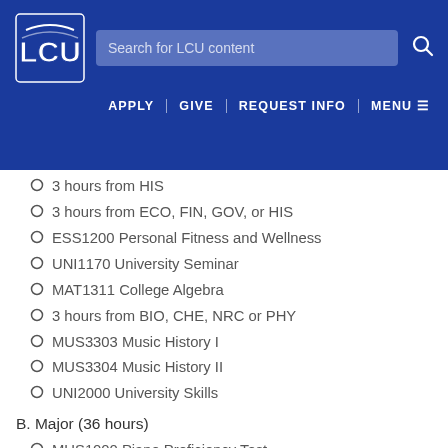LCU website header with logo, search bar, and navigation: APPLY | GIVE | REQUEST INFO | MENU
3 hours from HIS
3 hours from ECO, FIN, GOV, or HIS
ESS1200  Personal Fitness and Wellness
UNI1170  University Seminar
MAT1311  College Algebra
3 hours from BIO, CHE, NRC or PHY
MUS3303  Music History I
MUS3304  Music History II
UNI2000  University Skills
B. Major (36 hours)
MUS1000  Piano Proficiency Test
MUS1301  Music Literature
MUS1305  Elementary Music Theory I
MUS1105  Sight Singing and Ear Training I
MUS1306  Elementary Music Theory II
MUS1106  Sight Singing and Ear Training II